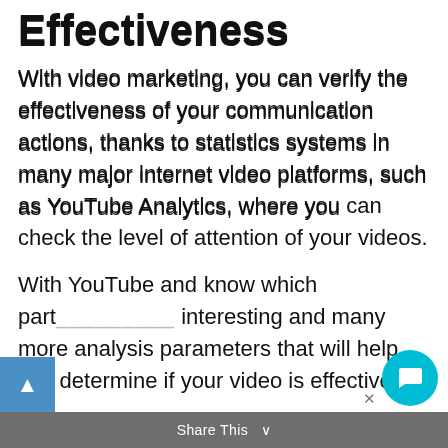Effectiveness
With video marketing, you can verify the effectiveness of your communication actions, thanks to statistics systems in many major internet video platforms, such as YouTube Analytics, where you can check the level of attention of your videos.
With YouTube an... know which part... more interesting and many more analysis parameters that will help you determine if your video is effective or
[Figure (screenshot): Chat popup overlay showing bot icon, close X button, greeting 'Hey! 👋' and message 'Are you ready to solve your business' branding & marketing problems?']
Share This ∨